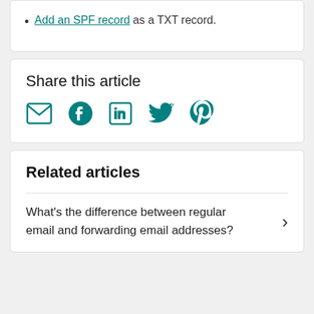Add an SPF record as a TXT record.
Share this article
[Figure (infographic): Row of five social sharing icons in teal: email envelope, Facebook circle, LinkedIn square, Twitter bird, Pinterest P]
Related articles
What's the difference between regular email and forwarding email addresses?